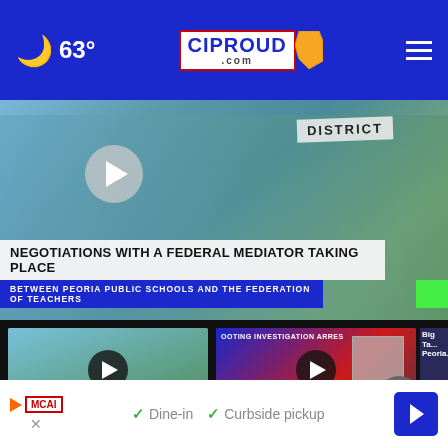63° — CIProud.com — navigation menu
[Figure (screenshot): Hero video still showing protest with sign reading DISTRICT, with play button overlay. Top Story chyron reads: NEGOTIATIONS WITH A FEDERAL MEDIATOR TAKING PLACE / BETWEEN PEORIA PUBLIC SCHOOLS AND THE FEDERATION OF TEACHERS]
TOP STORY
NEGOTIATIONS WITH A FEDERAL MEDIATOR TAKING PLACE
BETWEEN PEORIA PUBLIC SCHOOLS AND THE FEDERATION OF TEACHERS
[Figure (screenshot): Video thumbnail showing teachers protest with TEACHERS sign. Card title: Peoria teacher's union claims it was misled by... 5 hours ago]
[Figure (screenshot): Video thumbnail showing shooting investigation arrest graphic with mugshot. Card title: Peoria Police make arrest in Sunday... 4 hours ago]
[Figure (screenshot): Partially visible third video card. Big Ta... Peoria...]
Peoria teacher's union claims it was misled by...
5 hours ago
Peoria Police make arrest in Sunday...
4 hours ago
More Videos ›
Dine-in  ✓  Curbside pickup